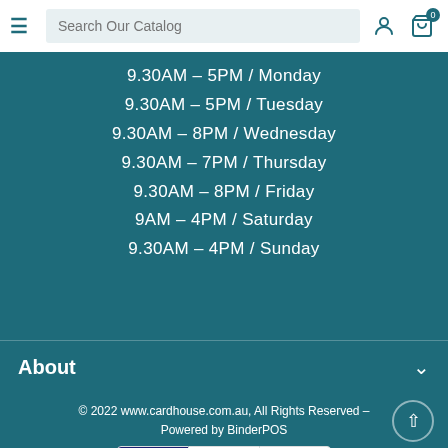Search Our Catalog
9.30AM - 5PM / Monday
9.30AM - 5PM / Tuesday
9.30AM - 8PM / Wednesday
9.30AM - 7PM / Thursday
9.30AM - 8PM / Friday
9AM - 4PM / Saturday
9.30AM - 4PM / Sunday
About
© 2022 www.cardhouse.com.au, All Rights Reserved - Powered by BinderPOS
[Figure (logo): Payment icons: VISA, PayPal, MasterCard]